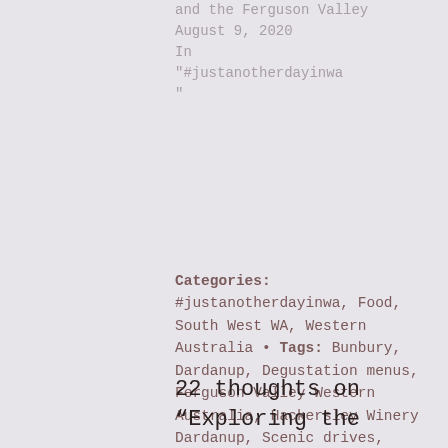and the Ferguson Valley
August 9, 2020
In
"#justanotherdayinwa
"
Categories: #justanotherdayinwa, Food, South West WA, Western Australia • Tags: Bunbury, Dardanup, Degustation menus, Ferguson Valley Western Australia, Hackersley Winery Dardanup, Scenic drives, Wellington National Park, Western Australia •
22 thoughts on
“Exploring the